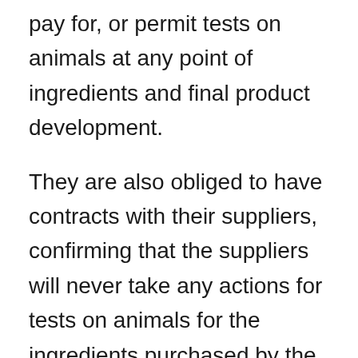pay for, or permit tests on animals at any point of ingredients and final product development.
They are also obliged to have contracts with their suppliers, confirming that the suppliers will never take any actions for tests on animals for the ingredients purchased by the company.
These statements are well presented on both organizations' websites and show that their approach to animal welfare. Their Cruelty free programs and certifications are truly